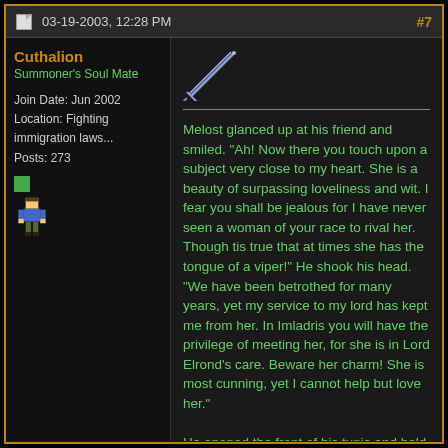03-19-2003, 12:28 PM  #7
Cuthalion
Summoner's Soul Mate
Join Date: Jun 2002
Location: Fighting immigration laws...
Posts: 273
[Figure (illustration): Pixel art sword icon (blue/purple diagonal sword)]
Melost glanced up at his friend and smiled. "Ah! Now there you touch upon a subject very close to my heart. She is a beauty of surpassing loveliness and wit. I fear you shall be jealous for I have never seen a woman of your race to rival her. Though tis true that at times she has the tongue of a viper!" He shook his head. "We have been betrothed for many years, yet my service to my lord has kept me from her. In Imladris you will have the privilege of meeting her, for she is in Lord Elrond's care. Beware her charm! She is most cunning, yet I cannot help but love her."

He opened the front of his tunic and held up a stone that